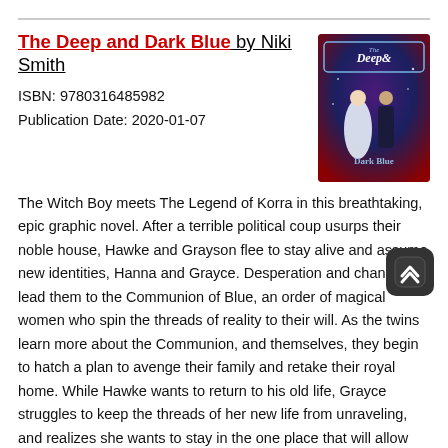The Deep and Dark Blue by Niki Smith
ISBN: 9780316485982
Publication Date: 2020-01-07
[Figure (illustration): Book cover of The Deep and Dark Blue showing two figures against a dark blue and purple magical background with the title text]
The Witch Boy meets The Legend of Korra in this breathtaking, epic graphic novel. After a terrible political coup usurps their noble house, Hawke and Grayson flee to stay alive and assume new identities, Hanna and Grayce. Desperation and chance lead them to the Communion of Blue, an order of magical women who spin the threads of reality to their will. As the twins learn more about the Communion, and themselves, they begin to hatch a plan to avenge their family and retake their royal home. While Hawke wants to return to his old life, Grayce struggles to keep the threads of her new life from unraveling, and realizes she wants to stay in the one place that will allow her to finally live as a girl. This title will be simultaneously